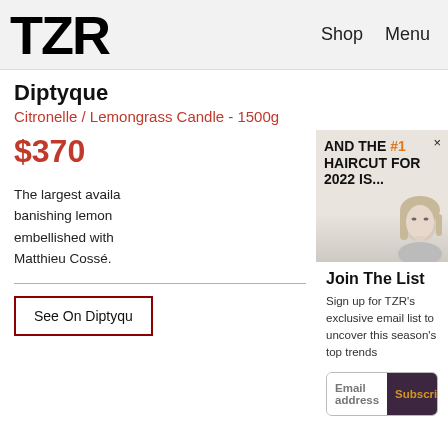TZR  Shop  Menu
Diptyque
Citronelle / Lemongrass Candle - 1500g
$370
The largest available banishing lemon embellished with Matthieu Cossé.
See On Diptyqu
[Figure (photo): Advertisement banner: AND THE #1 HAIRCUT FOR 2022 IS... with a photo of a blonde woman]
Join The List
Sign up for TZR's exclusive email list to uncover this season's top trends
Email address  Subscribe